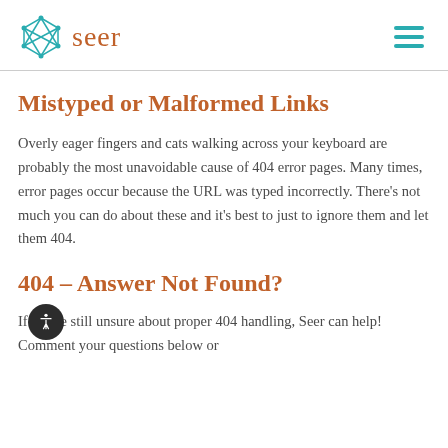seer
Mistyped or Malformed Links
Overly eager fingers and cats walking across your keyboard are probably the most unavoidable cause of 404 error pages. Many times, error pages occur because the URL was typed incorrectly. There’s not much you can do about these and it’s best to just to ignore them and let them 404.
404 – Answer Not Found?
If you’re still unsure about proper 404 handling, Seer can help! Comment your questions below or